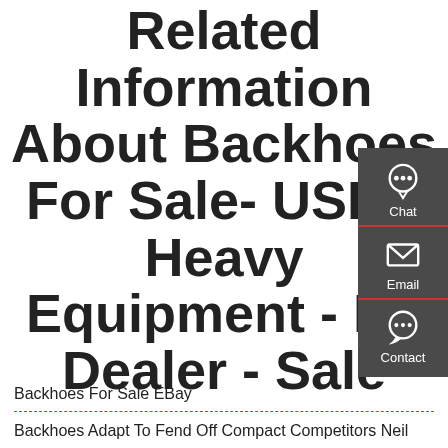Related Information About Backhoes For Sale- USED Heavy Equipment - By Dealer - Sale
[Figure (infographic): Dark grey side panel with three contact widgets: Chat (headset icon), Email (envelope icon), Contact (speech bubble icon), separated by red dividers]
Backhoes For Sale EBay
Backhoes Adapt To Fend Off Compact Competitors Neil